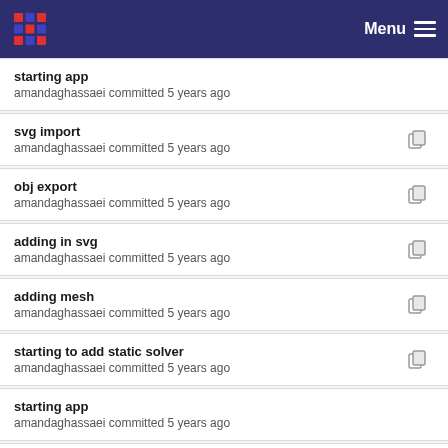Menu
starting app
amandaghassaei committed 5 years ago
svg import
amandaghassaei committed 5 years ago
obj export
amandaghassaei committed 5 years ago
adding in svg
amandaghassaei committed 5 years ago
adding mesh
amandaghassaei committed 5 years ago
starting to add static solver
amandaghassaei committed 5 years ago
starting app
amandaghassaei committed 5 years ago
ambient occlusion
amandaghassaei committed 5 years ago